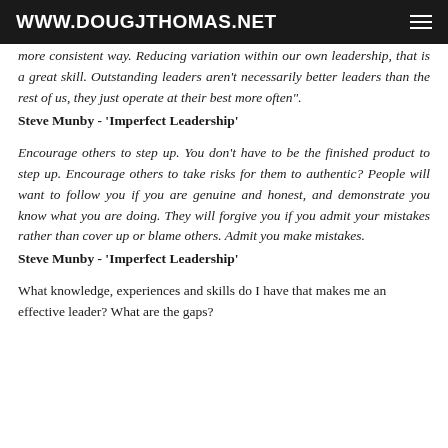WWW.DOUGJTHOMAS.NET
more consistent way. Reducing variation within our own leadership, that is a great skill. Outstanding leaders aren't necessarily better leaders than the rest of us, they just operate at their best more often".
Steve Munby - 'Imperfect Leadership'
Encourage others to step up. You don't have to be the finished product to step up. Encourage others to take risks for them to authentic? People will want to follow you if you are genuine and honest, and demonstrate you know what you are doing. They will forgive you if you admit your mistakes rather than cover up or blame others. Admit you make mistakes.
Steve Munby - 'Imperfect Leadership'
What knowledge, experiences and skills do I have that makes me an effective leader? What are the gaps?